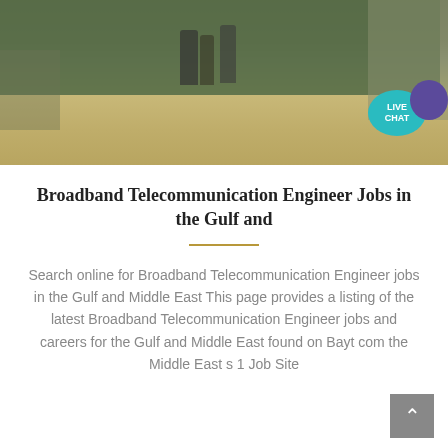[Figure (photo): Outdoor scene with a green wall and sandy/dusty ground, people visible in background]
Broadband Telecommunication Engineer Jobs in the Gulf and
Search online for Broadband Telecommunication Engineer jobs in the Gulf and Middle East This page provides a listing of the latest Broadband Telecommunication Engineer jobs and careers for the Gulf and Middle East found on Bayt com the Middle East s 1 Job Site